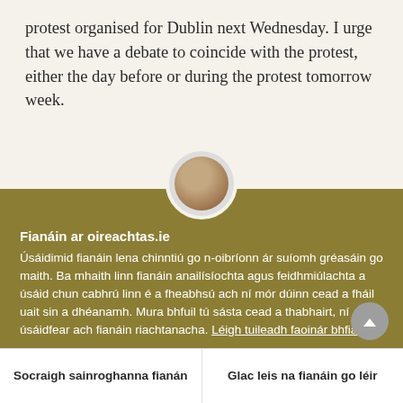protest organised for Dublin next Wednesday. I urge that we have a debate to coincide with the protest, either the day before or during the protest tomorrow week.
[Figure (photo): Circular avatar/profile photo partially visible, cropped at the bottom, showing a person's image in a round frame]
Fianáin ar oireachtas.ie
Úsáidimid fianáin lena chinntiú go n-oibríonn ár suíomh gréasáin go maith. Ba mhaith linn fianáin anailísíochta agus feidhmiúlachta a úsáid chun cabhrú linn é a fheabhsú ach ní mór dúinn cead a fháil uait sin a dhéanamh. Mura bhfuil tú sásta cead a thabhairt, ní úsáidfear ach fianáin riachtanacha. Léigh tuileadh faoinár bhfianáin
Socraigh sainroghanna fianán
Glac leis na fianáin go léir